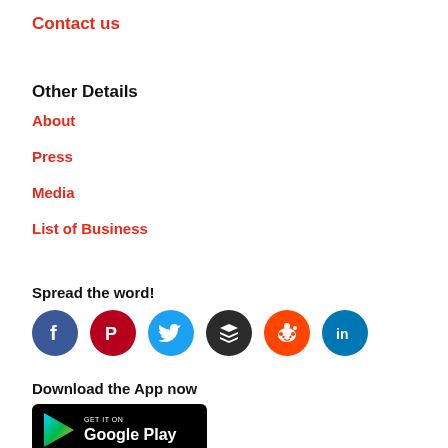Contact us
Other Details
About
Press
Media
List of Business
Spread the word!
[Figure (infographic): Social sharing icons: Facebook (blue circle with f), Pinterest (dark red circle with P), Twitter (light blue circle with bird), Buffer (dark circle with layers icon), Reddit (red circle with alien), LinkedIn (blue circle with in)]
Download the App now
[Figure (logo): Google Play badge: black rounded rectangle with GET IT ON Google Play text and Play Store triangle logo]